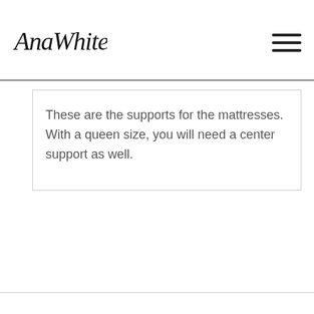AnaWhite
These are the supports for the mattresses. With a queen size, you will need a center support as well.